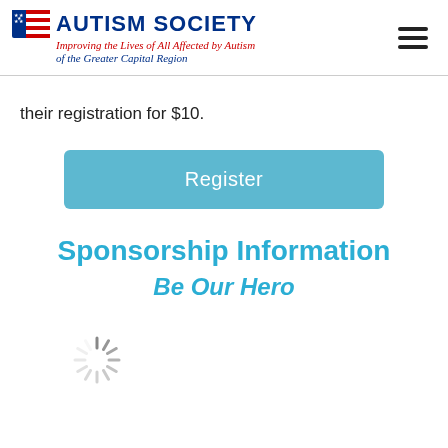AUTISM SOCIETY — Improving the Lives of All Affected by Autism of the Greater Capital Region
their registration for $10.
[Figure (other): Register button — a teal/light-blue rounded rectangle button with white text reading 'Register']
Sponsorship Information
Be Our Hero
[Figure (other): Loading spinner graphic — circular spinner with radiating lines indicating content loading]